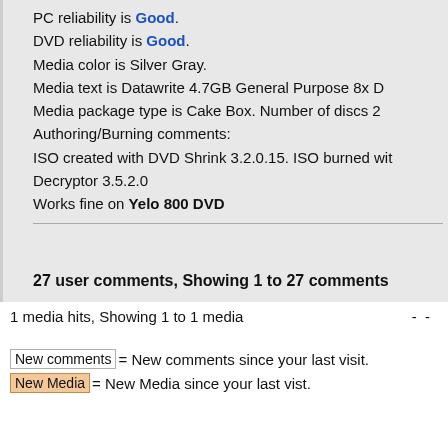PC reliability is Good. DVD reliability is Good. Media color is Silver Gray. Media text is Datawrite 4.7GB General Purpose 8x D Media package type is Cake Box. Number of discs 2 Authoring/Burning comments: ISO created with DVD Shrink 3.2.0.15. ISO burned wit Decryptor 3.5.2.0 Works fine on Yelo 800 DVD
27 user comments, Showing 1 to 27 comments
1 media hits, Showing 1 to 1 media  -  -
New comments = New comments since your last visit. New Media = New Media since your last vist.